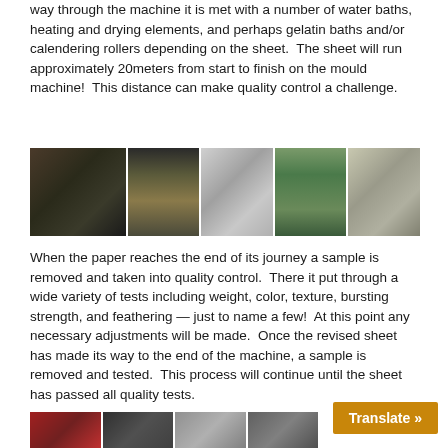way through the machine it is met with a number of water baths, heating and drying elements, and perhaps gelatin baths and/or calendering rollers depending on the sheet.  The sheet will run approximately 20meters from start to finish on the mould machine!  This distance can make quality control a challenge.
[Figure (photo): Five side-by-side industrial photographs showing: 1) dark roll/drum surface, 2) yellow machinery in a mill, 3) white paper roll/sheet, 4) green mesh/cage enclosure, 5) white cylindrical rolls stacked]
When the paper reaches the end of its journey a sample is removed and taken into quality control.  There it put through a wide variety of tests including weight, color, texture, bursting strength, and feathering — just to name a few!  At this point any necessary adjustments will be made.  Once the revised sheet has made its way to the end of the machine, a sample is removed and tested.  This process will continue until the sheet has passed all quality tests.
[Figure (photo): Row of partially visible industrial photos at the bottom of the page]